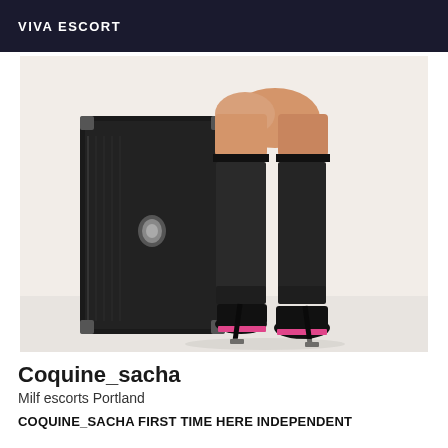VIVA ESCORT
[Figure (photo): Photo showing the lower body of a person wearing black thigh-high stockings and pink-soled black platform heels, leaning against a black road case/equipment box, against a white background.]
Coquine_sacha
Milf escorts Portland
COQUINE_SACHA FIRST TIME HERE Independent